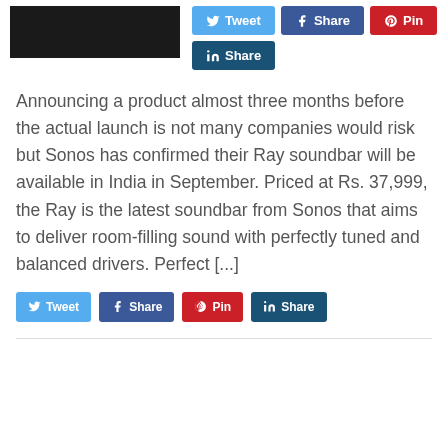[Figure (photo): Dark thumbnail image]
Announcing a product almost three months before the actual launch is not many companies would risk but Sonos has confirmed their Ray soundbar will be available in India in September. Priced at Rs. 37,999, the Ray is the latest soundbar from Sonos that aims to deliver room-filling sound with perfectly tuned and balanced drivers. Perfect [...]